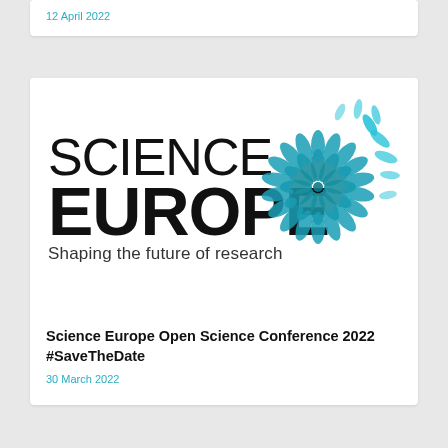12 April 2022
[Figure (logo): Science Europe logo: text 'SCIENCE EUROPE Shaping the future of research' with a decorative blue globe/flower pattern made of overlapping leaf shapes]
Science Europe Open Science Conference 2022 #SaveTheDate
30 March 2022